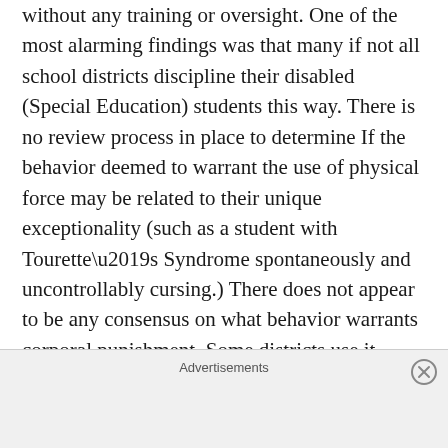without any training or oversight.  One of the most alarming findings was that many if not all school districts discipline their disabled (Special Education) students this way.  There is no review process in place to determine If the behavior deemed to warrant the use of physical force may be related to their unique exceptionality (such as a student with Tourette’s Syndrome spontaneously and uncontrollably cursing.)  There does not appear to be any consensus on what behavior warrants corporal punishment.  Some districts use it sparingly for more serious offenses, while a number of districts may employ it for the smallest transgression such as “Willful Disobedience” which
Advertisements